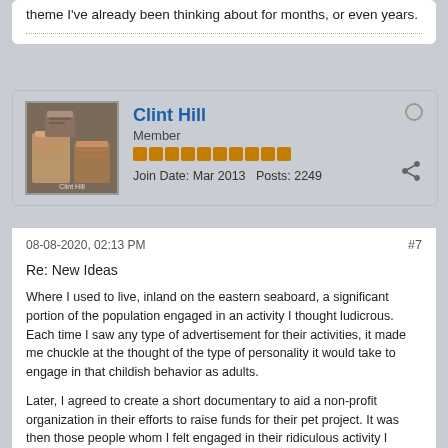theme I've already been thinking about for months, or even years.
Clint Hill
Member
Join Date: Mar 2013   Posts: 2249
08-08-2020, 02:13 PM
#7
Re: New Ideas
Where I used to live, inland on the eastern seaboard, a significant portion of the population engaged in an activity I thought ludicrous. Each time I saw any type of advertisement for their activities, it made me chuckle at the thought of the type of personality it would take to engage in that childish behavior as adults.
Later, I agreed to create a short documentary to aid a non-profit organization in their efforts to raise funds for their pet project. It was then those people whom I felt engaged in their ridiculous activity I needed for the documentary to represent that segment of the local populace.
After my recorded interviews with them, I assembled the footage as a rough cut in my Avid Media Composer. I bemusedly asked myself the famous “What if...?” question as it related to those people’s pastime. It was then the idea for a screen story struck me like a lightning bolt.